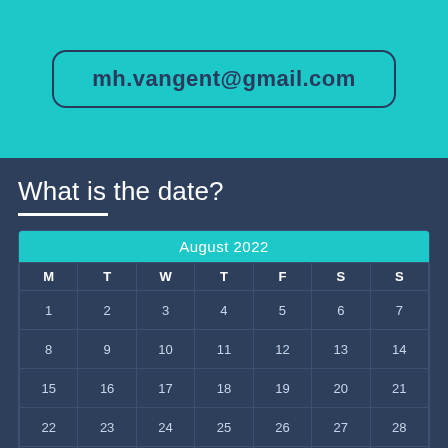mh.vangent@gmail.com
What is the date?
| M | T | W | T | F | S | S |
| --- | --- | --- | --- | --- | --- | --- |
| 1 | 2 | 3 | 4 | 5 | 6 | 7 |
| 8 | 9 | 10 | 11 | 12 | 13 | 14 |
| 15 | 16 | 17 | 18 | 19 | 20 | 21 |
| 22 | 23 | 24 | 25 | 26 | 27 | 28 |
| 29 | 30 | 31 |  |  |  |  |